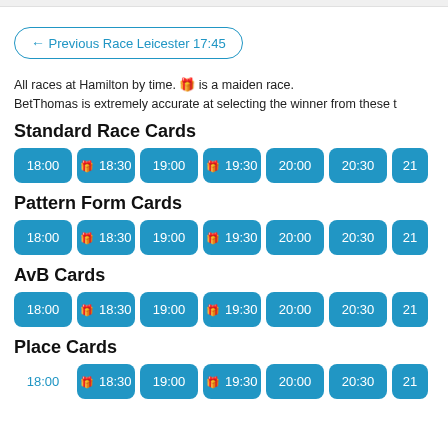← Previous Race Leicester 17:45
All races at Hamilton by time. 🎁 is a maiden race. BetThomas is extremely accurate at selecting the winner from these t
Standard Race Cards
18:00  🎁 18:30  19:00  🎁 19:30  20:00  20:30  21
Pattern Form Cards
18:00  🎁 18:30  19:00  🎁 19:30  20:00  20:30  21
AvB Cards
18:00  🎁 18:30  19:00  🎁 19:30  20:00  20:30  21
Place Cards
18:00  🎁 18:30  19:00  🎁 19:30  20:00  20:30  21